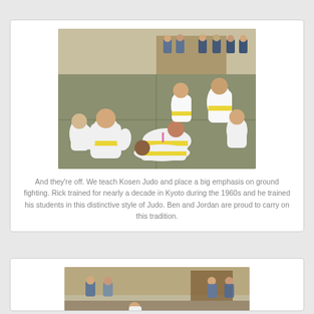[Figure (photo): Children in white judo uniforms (gi) with yellow belts practicing ground fighting (Kosen Judo) on a mat in a hall. Several kids are grappling on the floor while others watch from chairs in the background.]
And they're off.  We teach Kosen Judo and place a big emphasis on ground fighting.  Rick trained for nearly a decade in Kyoto during the 1960s and he trained his students in this distinctive style of Judo. Ben and Jordan are proud to carry on this tradition.
[Figure (photo): Partial view of a judo class in a hall, showing children and adults sitting on chairs in the background with wooden paneling on the walls.]